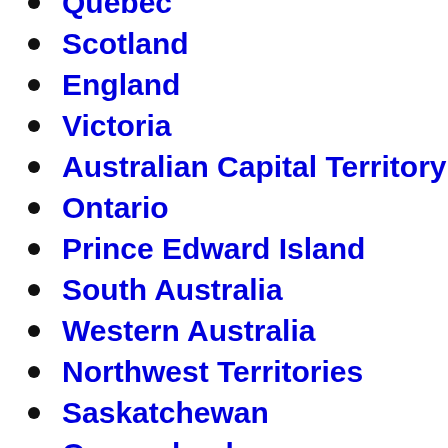Quebec
Scotland
England
Victoria
Australian Capital Territory
Ontario
Prince Edward Island
South Australia
Western Australia
Northwest Territories
Saskatchewan
Queensland